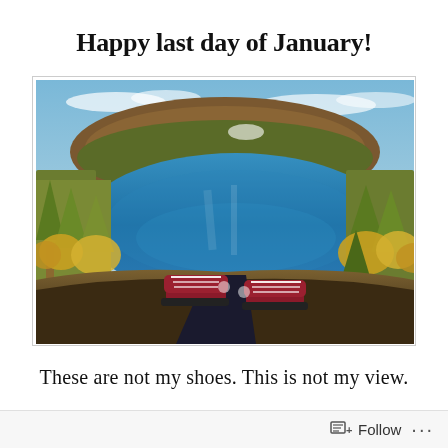Happy last day of January!
[Figure (photo): Aerial/person's-eye-view photo showing feet in red and black Converse sneakers propped up, overlooking a vivid blue mountain lake surrounded by autumn-colored yellow/orange trees and forest, with a brown hill in the background under a cloudy blue sky.]
These are not my shoes. This is not my view.
Follow ...